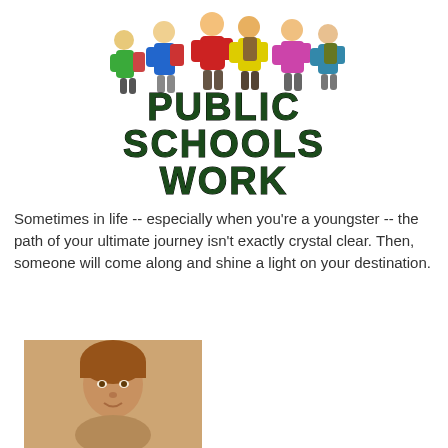[Figure (illustration): Group of school children with backpacks giving thumbs up, with 'PUBLIC SCHOOLS WORK' text in large dark green bold letters below them forming a logo/promotional image]
Sometimes in life -- especially when you're a youngster -- the path of your ultimate journey isn't exactly crystal clear. Then, someone will come along and shine a light on your destination.
[Figure (photo): Vintage sepia/warm-toned photograph of a young child with a bowl haircut]